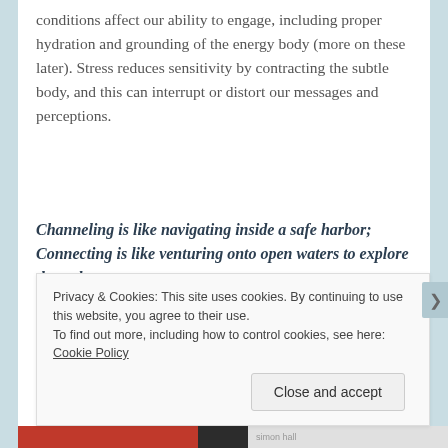conditions affect our ability to engage, including proper hydration and grounding of the energy body (more on these later). Stress reduces sensitivity by contracting the subtle body, and this can interrupt or distort our messages and perceptions.
Channeling is like navigating inside a safe harbor; Connecting is like venturing onto open waters to explore the unknown.
We need to learn to channel first – receiving
Privacy & Cookies: This site uses cookies. By continuing to use this website, you agree to their use.
To find out more, including how to control cookies, see here: Cookie Policy
Close and accept